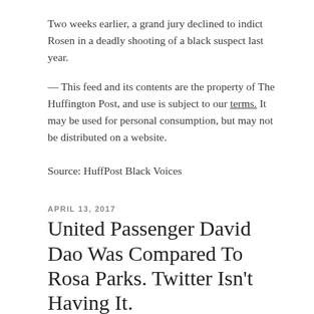Two weeks earlier, a grand jury declined to indict Rosen in a deadly shooting of a black suspect last year.
— This feed and its contents are the property of The Huffington Post, and use is subject to our terms. It may be used for personal consumption, but may not be distributed on a website.
Source: HuffPost Black Voices
APRIL 13, 2017
United Passenger David Dao Was Compared To Rosa Parks. Twitter Isn't Having It.
David Dao, the passenger on the United Airlines flight